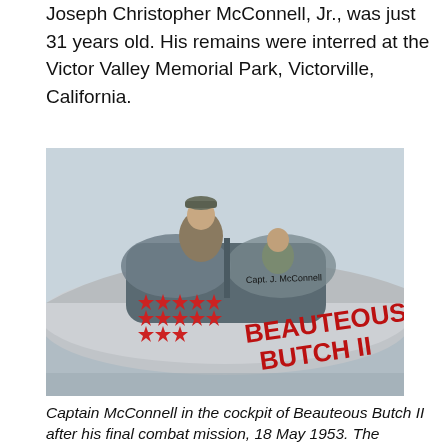Joseph Christopher McConnell, Jr., was just 31 years old. His remains were interred at the Victor Valley Memorial Park, Victorville, California.
[Figure (photo): Captain McConnell standing in the cockpit of the fighter jet 'Beauteous Butch II', which has red stars painted on the fuselage and the name painted in large red letters. Another person is seated in a second cockpit position. The aircraft is silver/metallic.]
Captain McConnell in the cockpit of Beauteous Butch II after his final combat mission, 18 May 1953. The airplane